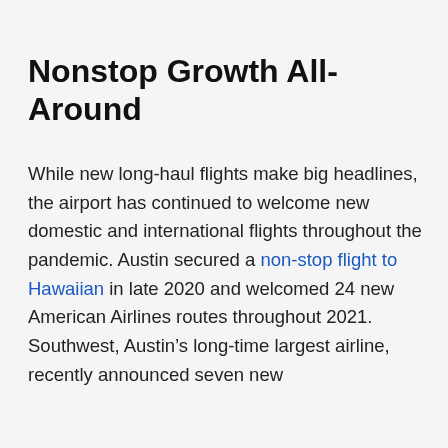Nonstop Growth All-Around
While new long-haul flights make big headlines, the airport has continued to welcome new domestic and international flights throughout the pandemic. Austin secured a non-stop flight to Hawaiian in late 2020 and welcomed 24 new American Airlines routes throughout 2021. Southwest, Austin’s long-time largest airline, recently announced seven new